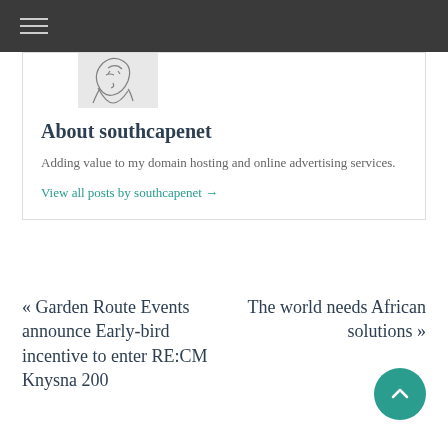Navigation menu (hamburger icon)
[Figure (illustration): Partial author avatar image showing a stylized sketch/illustration of a person]
About southcapenet
Adding value to my domain hosting and online advertising services.
View all posts by southcapenet →
« Garden Route Events announce Early-bird incentive to enter RE:CM Knysna 200
The world needs African solutions »